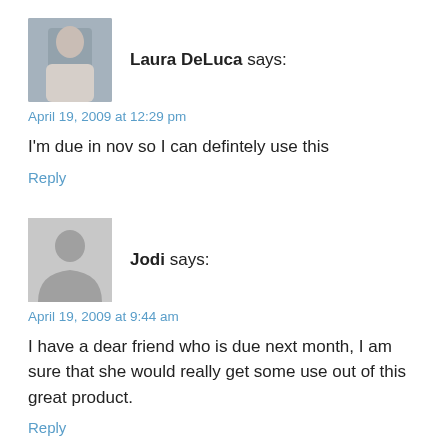Laura DeLuca says:
April 19, 2009 at 12:29 pm
I'm due in nov so I can defintely use this
Reply
[Figure (illustration): Gray placeholder avatar silhouette for user Jodi]
Jodi says:
April 19, 2009 at 9:44 am
I have a dear friend who is due next month, I am sure that she would really get some use out of this great product.
Reply